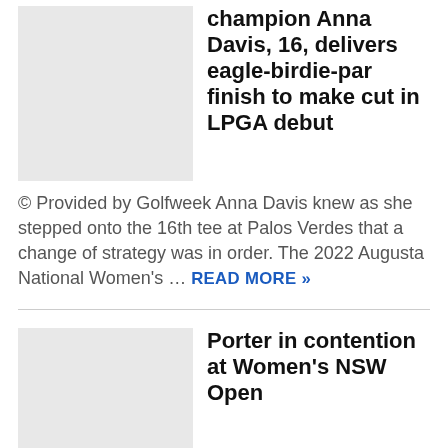champion Anna Davis, 16, delivers eagle-birdie-par finish to make cut in LPGA debut
© Provided by Golfweek Anna Davis knew as she stepped onto the 16th tee at Palos Verdes that a change of strategy was in order. The 2022 Augusta National Women's … READ MORE »
Porter in contention at Women's NSW Open
Australian rookie Cassie Porter has a chance to kickstart her three-month-old professional career in Sunday's final round of the Women's NSW Open.